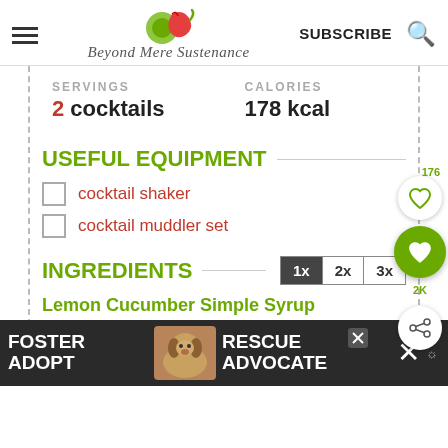Beyond Mere Sustenance — SUBSCRIBE
SERVINGS 2 cocktails   CALORIES 178 kcal
USEFUL EQUIPMENT
cocktail shaker
cocktail muddler set
INGREDIENTS
Lemon Cucumber Simple Syrup
2 lemons juice both, zest 1
[Figure (screenshot): Advertisement banner: Foster Adopt Rescue Advocate with a beagle dog photo]